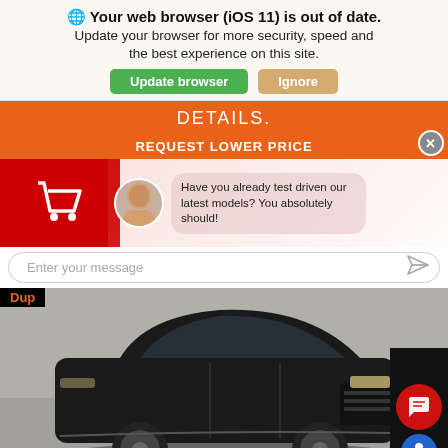🌐 Your web browser (iOS 11) is out of date. Update your browser for more security, speed and the best experience on this site.
Update browser | Ignore
DETAILS.
REQUEST LOWER PRICE
[Figure (screenshot): Chat widget overlay with avatar and message bubble saying: Have you already test driven our latest models? You absolutely should!]
Enter your message
[Figure (photo): Black Jeep Grand Cherokee SUV parked in dealership showroom, viewed from front-left angle. Orange 'Dup' text label visible on black bar at top left.]